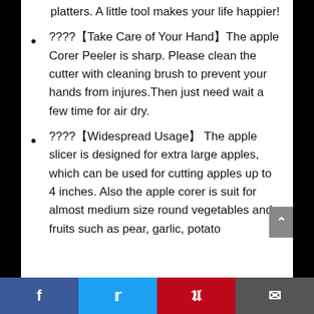platters. A little tool makes your life happier!
????【Take Care of Your Hand】The apple Corer Peeler is sharp. Please clean the cutter with cleaning brush to prevent your hands from injures.Then just need wait a few time for air dry.
????【Widespread Usage】 The apple slicer is designed for extra large apples, which can be used for cutting apples up to 4 inches. Also the apple corer is suit for almost medium size round vegetables and fruits such as pear, garlic, potato